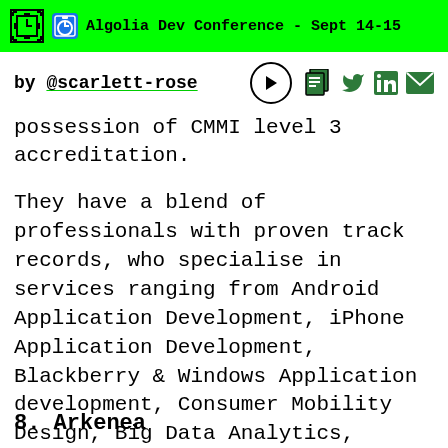Algolia Dev Conference - Sept 14-15
by @scarlett-rose
possession of CMMI level 3 accreditation.
They have a blend of professionals with proven track records, who specialise in services ranging from Android Application Development, iPhone Application Development, Blackberry & Windows Application development, Consumer Mobility Design, Big Data Analytics, Enterprise Mobility Design, Hadoop, Cloud computing, Chatbots, Web Design & Development, and IoT.
8. Arkenea